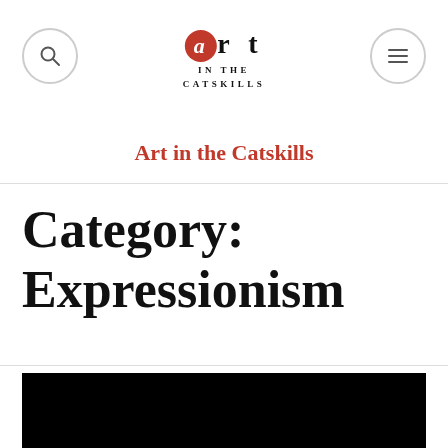Art in the Catskills
Art in the Catskills
Category: Expressionism
[Figure (photo): Dark/black image at the bottom of the page]